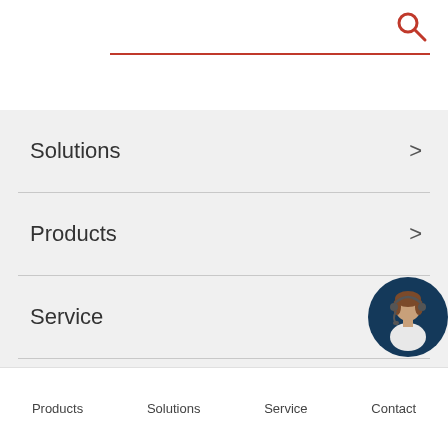[Figure (screenshot): Search bar with red underline and red magnifying glass icon on white background]
Solutions >
Products >
Service
[Figure (illustration): Customer service representative avatar in a dark blue circle with headset]
About Sc...
Products   Solutions   Service   Contact